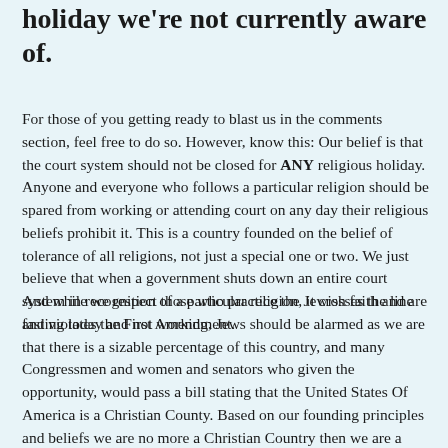holiday we're not currently aware of.
For those of you getting ready to blast us in the comments section, feel free to do so. However, know this: Our belief is that the court system should not be closed for ANY religious holiday. Anyone and everyone who follows a particular religion should be spared from working or attending court on any day their religious beliefs prohibit it. This is a country founded on the belief of tolerance of all religions, not just a special one or two. We just believe that when a government shuts down an entire court system in recognition of a particular religion, it crosses the line and violates the First Amendment.
And while we respect those who practice the Jewish faith and are fasting today and not working, Jews should be alarmed as we are that there is a sizable percentage of this country, and many Congressmen and women and senators who given the opportunity, would pass a bill stating that the United States Of America is a Christian County. Based on our founding principles and beliefs we are no more a Christian Country then we are a Muslim or Buddhist or Druid or Jewish country. We are a country that is supposed to tolerate ALL religions and recognize NONE.